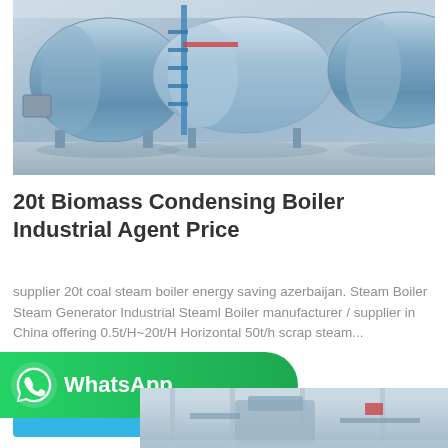[Figure (photo): Industrial boiler equipment in a factory setting, large cylindrical blue-grey boilers with metal framework and stairs visible]
20t Biomass Condensing Boiler Industrial Agent Price
supplier 20t coal steam boiler energy saving azerbaijan. Steam Boiler Steam Generator Industrial Steaml Boiler manufacturer / supplier in China offering 0.5t/H~20t/H Horizontal 50t/h scrap steam...
[Figure (screenshot): Get Price button in light blue/cyan color]
[Figure (logo): WhatsApp banner in green with WhatsApp icon and text]
[Figure (photo): Industrial boiler or steam equipment in a factory setting, partial view at bottom of page]